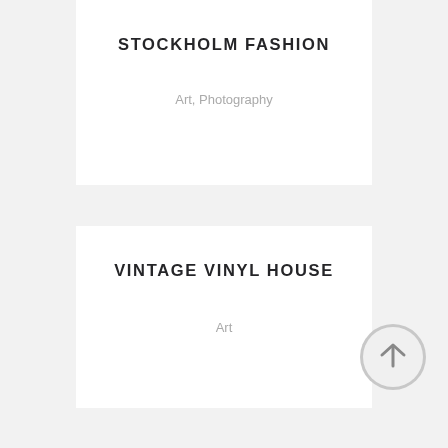STOCKHOLM FASHION
Art, Photography
VINTAGE VINYL HOUSE
Art
FAST VECTOR MOBILE
Art, Business
[Figure (other): Back to top arrow button, circular grey icon with upward arrow]